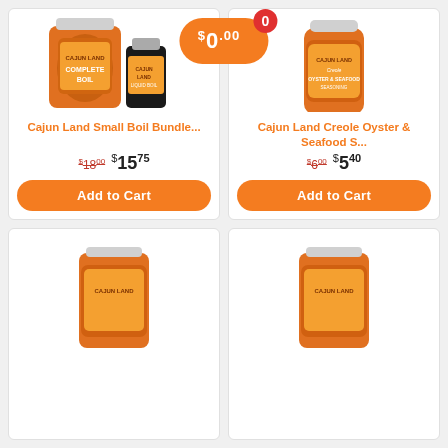[Figure (screenshot): Shopping cart badge showing $0.00 price with 0 item count badge in red circle]
[Figure (photo): Cajun Land Complete Boil large jar and Cajun Land Liquid Boil small bottle products]
Cajun Land Small Boil Bundle...
$18.00 $15.75
Add to Cart
[Figure (photo): Cajun Land Creole Oyster & Seafood Seasoning shaker bottle]
Cajun Land Creole Oyster & Seafood S...
$6.00 $5.40
Add to Cart
[Figure (photo): Cajun Land seasoning jar - bottom left product card, partially visible]
[Figure (photo): Cajun Land seasoning jar - bottom right product card, partially visible]